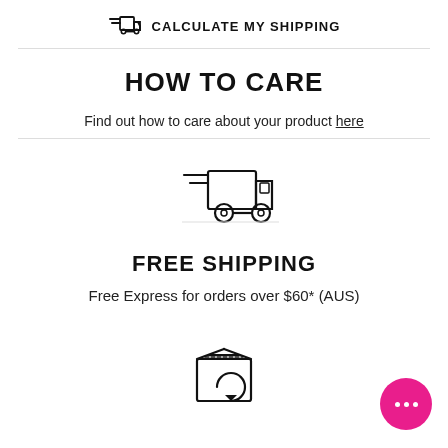CALCULATE MY SHIPPING
HOW TO CARE
Find out how to care about your product here
[Figure (illustration): Delivery truck icon (outline style)]
FREE SHIPPING
Free Express for orders over $60* (AUS)
[Figure (illustration): Returns/package with circular arrow icon (outline style)]